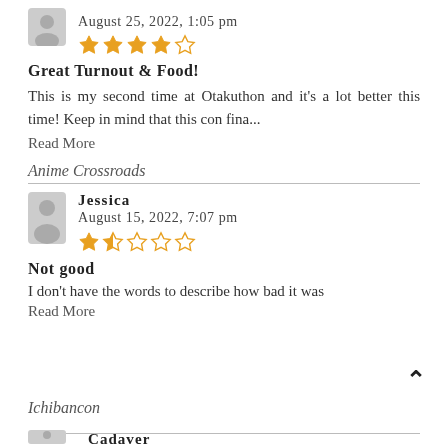August 25, 2022, 1:05 pm
[Figure (other): 4-star rating out of 5 stars (orange filled stars)]
Great Turnout & Food!
This is my second time at Otakuthon and it's a lot better this time! Keep in mind that this con fina...
Read More
Anime Crossroads
Jessica
August 15, 2022, 7:07 pm
[Figure (other): 1.5-star rating out of 5 stars (orange partially filled)]
Not good
I don't have the words to describe how bad it was
Read More
Ichibancon
Cadaver